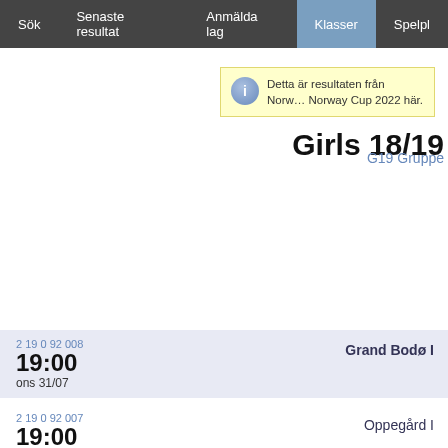Sök | Senaste resultat | Anmälda lag | Klasser | Spelpl…
Detta är resultaten från Norw… Norway Cup 2022 här.
Girls 18/19
G19 Gruppe
| Match ID | Time | Date | Team |
| --- | --- | --- | --- |
| 2 19 0 92 008 | 19:00 | ons 31/07 | Grand Bodø I |
| 2 19 0 92 007 | 19:00 | ons 31/07 | Oppegård I |